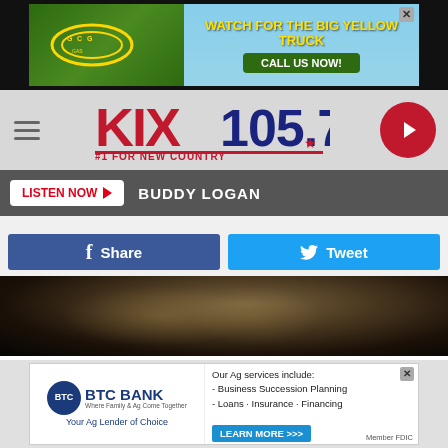[Figure (other): Top banner advertisement for GCG Gas showing a yellow truck with text 'WATCH FOR THE BIG YELLOW TRUCK' and 'CALL US NOW!' button]
[Figure (logo): KIX 105.7 radio station logo with tagline '#1 FOR NEW COUNTRY' in red and dark blue text]
LISTEN NOW ▶  BUDDY LOGAN
f Share   🐦 Tweet
[Figure (photo): Dark photo showing a performer on stage in an embroidered jacket]
TASTE OF COUNTRY  Source: Luke Bryan Stops Concert to Recognize Legend in the Crowd [Watch]
Filed Under: Luke Bryan, Randy Travis
[Figure (other): BTC Bank advertisement: 'Your Ag Lender of Choice' with services listed and LEARN MORE button, Member FDIC]